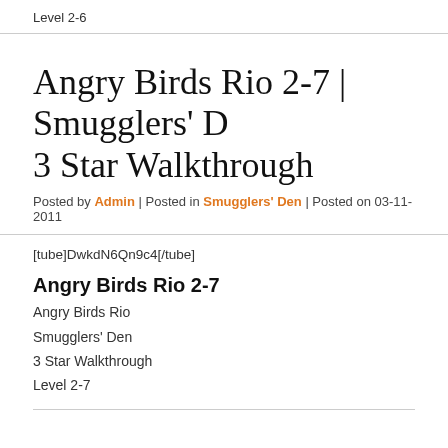Level 2-6
Angry Birds Rio 2-7 | Smugglers' Den 3 Star Walkthrough
Posted by Admin | Posted in Smugglers' Den | Posted on 03-11-2011
[tube]DwkdN6Qn9c4[/tube]
Angry Birds Rio 2-7
Angry Birds Rio
Smugglers' Den
3 Star Walkthrough
Level 2-7